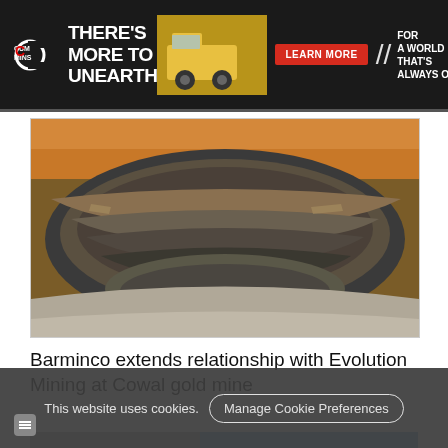[Figure (other): Cummins advertisement banner: dark background with Cummins logo, text 'THERE'S MORE TO UNEARTH', yellow mining truck image, red 'LEARN MORE' button, double slash mark, and slogan 'FOR A WORLD THAT'S ALWAYS ON']
[Figure (photo): Aerial/panoramic photo of an open-pit mine showing layered terraced rock walls in brown, orange and grey tones with curved road paths]
Barminco extends relationship with Evolution Mining at Cowal gold mine
[Figure (photo): Partial photo of industrial buildings with grey siding and a red roof structure visible against a blue sky]
This website uses cookies.
Manage Cookie Preferences